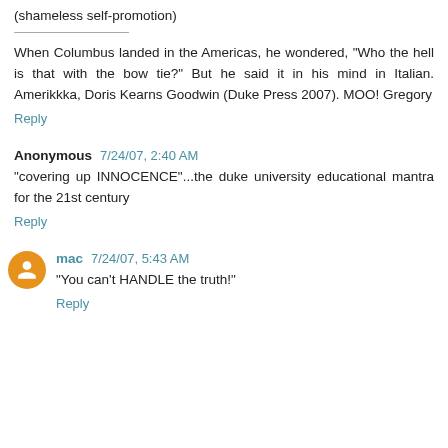(shameless self-promotion)
When Columbus landed in the Americas, he wondered, "Who the hell is that with the bow tie?" But he said it in his mind in Italian. Amerikkka, Doris Kearns Goodwin (Duke Press 2007). MOO! Gregory
Reply
Anonymous 7/24/07, 2:40 AM
"covering up INNOCENCE"...the duke university educational mantra for the 21st century
Reply
mac 7/24/07, 5:43 AM
"You can't HANDLE the truth!"
Reply